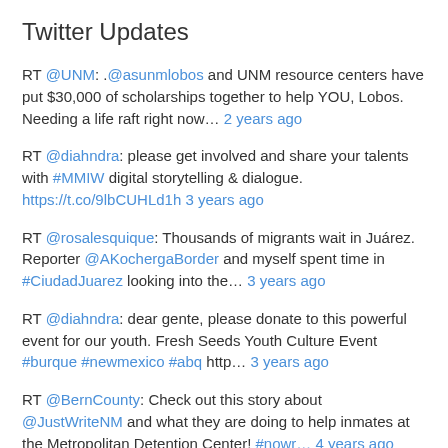Twitter Updates
RT @UNM: .@asunmlobos and UNM resource centers have put $30,000 of scholarships together to help YOU, Lobos. Needing a life raft right now… 2 years ago
RT @diahndra: please get involved and share your talents with #MMIW digital storytelling & dialogue. https://t.co/9lbCUHLd1h 3 years ago
RT @rosalesquique: Thousands of migrants wait in Juárez. Reporter @AKochergaBorder and myself spent time in #CiudadJuarez looking into the… 3 years ago
RT @diahndra: dear gente, please donate to this powerful event for our youth. Fresh Seeds Youth Culture Event #burque #newmexico #abq http… 3 years ago
RT @BernCounty: Check out this story about @JustWriteNM and what they are doing to help inmates at the Metropolitan Detention Center! #nowr… 4 years ago